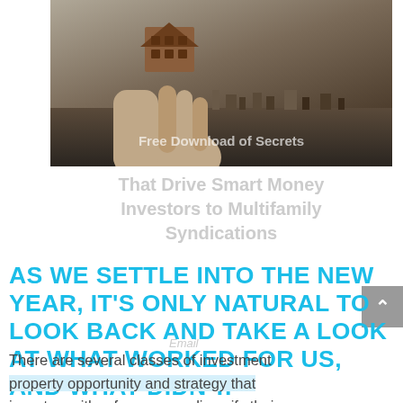[Figure (photo): A hand holding a small wooden house-shaped cutout against a blurred outdoor background, with overlay text 'Free Download of Secrets']
That Drive Smart Money Investors to Multifamily Syndications
AS WE SETTLE INTO THE NEW YEAR, IT'S ONLY NATURAL TO LOOK BACK AND TAKE A LOOK AT WHAT WORKED FOR US, AND WHAT DIDN'T.
There are several classes of investment property opportunity and strategy that investors either focus on or diversify their